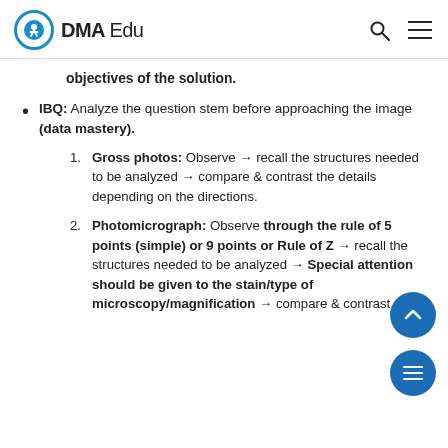DMA Edu
objectives of the solution.
IBQ: Analyze the question stem before approaching the image (data mastery).
1. Gross photos: Observe → recall the structures needed to be analyzed → compare & contrast the details depending on the directions.
2. Photomicrograph: Observe through the rule of 5 points (simple) or 9 points or Rule of Z → recall the structures needed to be analyzed → Special attention should be given to the stain/type of microscopy/magnification → compare & contrast the details depending on the directions.